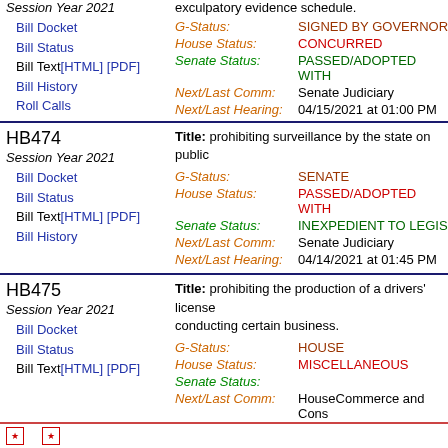exculpatory evidence schedule.
G-Status: SIGNED BY GOVERNOR
House Status: CONCURRED
Senate Status: PASSED/ADOPTED WITH
Next/Last Comm: Senate Judiciary
Next/Last Hearing: 04/15/2021 at 01:00 PM
Bill Docket
Bill Status
Bill Text [HTML] [PDF]
Bill History
Roll Calls
HB474
Session Year 2021
Title: prohibiting surveillance by the state on public
G-Status: SENATE
House Status: PASSED/ADOPTED WITH
Senate Status: INEXPEDIENT TO LEGIS
Next/Last Comm: Senate Judiciary
Next/Last Hearing: 04/14/2021 at 01:45 PM
Bill Docket
Bill Status
Bill Text [HTML] [PDF]
Bill History
HB475
Session Year 2021
Title: prohibiting the production of a drivers' license conducting certain business.
G-Status: HOUSE
House Status: MISCELLANEOUS
Senate Status:
Next/Last Comm: HouseCommerce and Cons
Next/Last Hearing: 01/26/2021 at 10:45 AM
Bill Docket
Bill Status
Bill Text [HTML] [PDF]